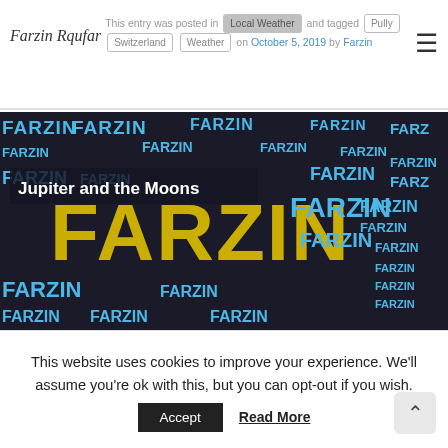Farzin Rqufar — This entry was posted in Local Weather and tagged Pully Switzerland Weather on October 5, 2019 by Farzin
[Figure (illustration): Word-art image showing 'FARZIN' repeated in blue and large yellow distressed letters on dark background, with overlay title 'Jupiter and the Moons']
This website uses cookies to improve your experience. We'll assume you're ok with this, but you can opt-out if you wish.
Accept   Read More